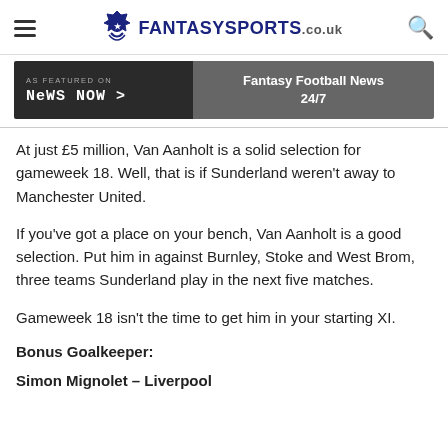FantasySports.co.uk
[Figure (screenshot): Banner: AS FEATURED ON News Now > | Fantasy Football News 24/7]
At just £5 million, Van Aanholt is a solid selection for gameweek 18. Well, that is if Sunderland weren't away to Manchester United.
If you've got a place on your bench, Van Aanholt is a good selection. Put him in against Burnley, Stoke and West Brom, three teams Sunderland play in the next five matches.
Gameweek 18 isn't the time to get him in your starting XI.
Bonus Goalkeeper:
Simon Mignolet – Liverpool